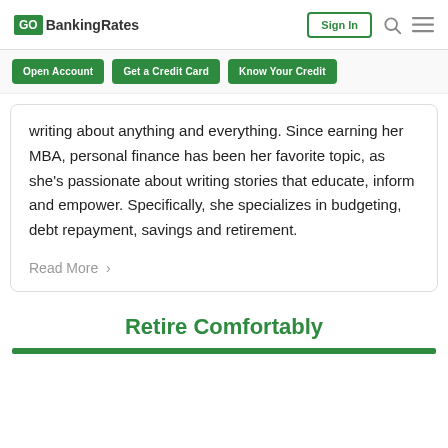GO BankingRates | Sign In
Open Account   Get a Credit Card   Know Your Credit
writing about anything and everything. Since earning her MBA, personal finance has been her favorite topic, as she's passionate about writing stories that educate, inform and empower. Specifically, she specializes in budgeting, debt repayment, savings and retirement.
Read More >
Retire Comfortably